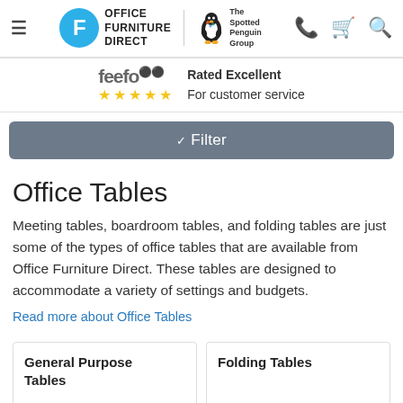Office Furniture Direct | The Spotted Penguin Group
feefo — Rated Excellent For customer service
Filter
Office Tables
Meeting tables, boardroom tables, and folding tables are just some of the types of office tables that are available from Office Furniture Direct. These tables are designed to accommodate a variety of settings and budgets.
Read more about Office Tables
General Purpose Tables
Folding Tables